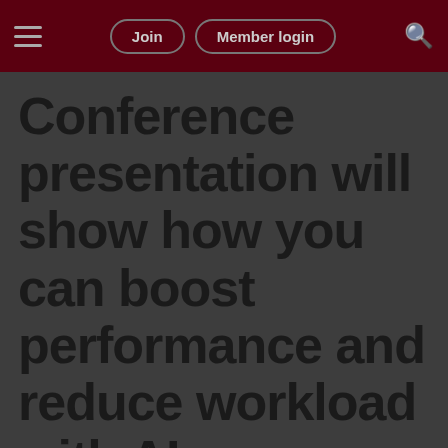Join | Member login
Conference presentation will show how you can boost performance and reduce workload with AI
Cookie Privacy
We use cookies to operate this website, to personalise content